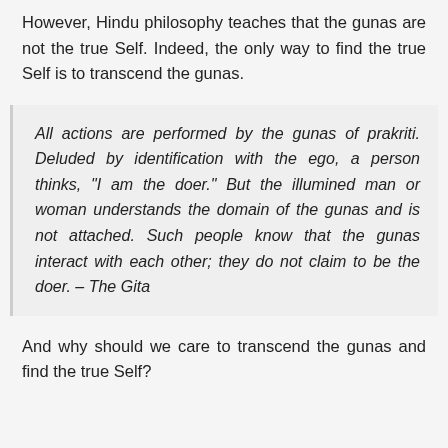However, Hindu philosophy teaches that the gunas are not the true Self. Indeed, the only way to find the true Self is to transcend the gunas.
All actions are performed by the gunas of prakriti. Deluded by identification with the ego, a person thinks, "I am the doer." But the illumined man or woman understands the domain of the gunas and is not attached. Such people know that the gunas interact with each other; they do not claim to be the doer. – The Gita
And why should we care to transcend the gunas and find the true Self?